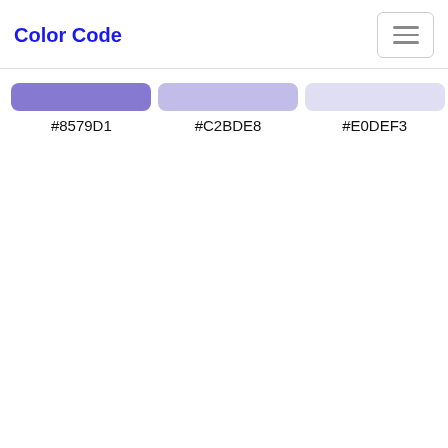Color Code
[Figure (other): Three color swatches shown as rounded rectangles: #8579D1 (medium purple), #C2BDE8 (light purple), #E0DEF3 (very light lavender), each labeled with their hex code below.]